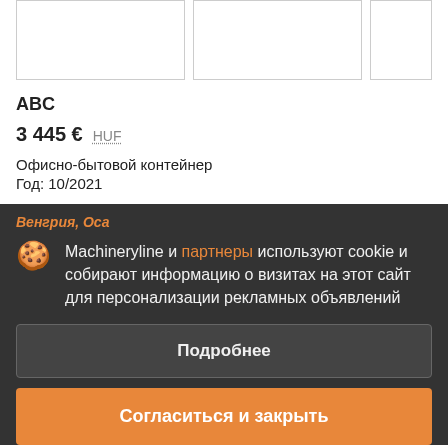[Figure (photo): Three image boxes showing product photos (whitespace/placeholder boxes visible)]
ABC
3 445 €  HUF
Офисно-бытовой контейнер
Год: 10/2021
Венгрия, Оса
Machineryline и партнеры используют cookie и собирают информацию о визитах на этот сайт для персонализации рекламных объявлений
Подробнее
Согласиться и закрыть